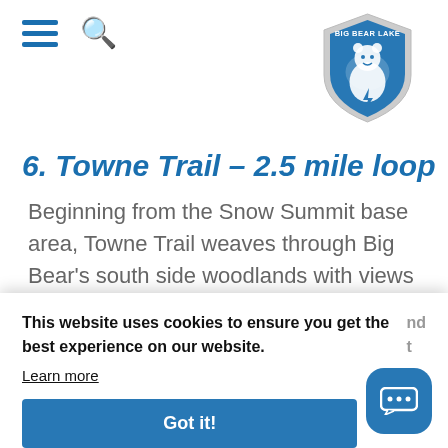[Figure (logo): Big Bear Lake shield logo/badge in blue with a bear silhouette]
6. Towne Trail – 2.5 mile loop – Ea...
Beginning from the Snow Summit base area, Towne Trail weaves through Big Bear's south side woodlands with views of the north shore and the lake. This easy route is ideal for beginner mountain bikers as welll
This website uses cookies to ensure you get the best experience on our website.
Learn more
Got it!